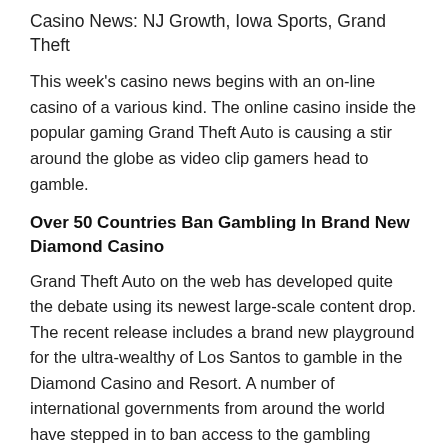Casino News: NJ Growth, Iowa Sports, Grand Theft
This week's casino news begins with an on-line casino of a various kind. The online casino inside the popular gaming Grand Theft Auto is causing a stir around the globe as video clip gamers head to gamble.
Over 50 Countries Ban Gambling In Brand New Diamond Casino
Grand Theft Auto on the web has developed quite the debate using its newest large-scale content drop. The recent release includes a brand new playground for the ultra-wealthy of Los Santos to gamble in the Diamond Casino and Resort. A number of international governments from around the world have stepped in to ban access to the gambling portions of the new content while the origin of this online casino experience is a video game.
While players through the usa, Japan and Western Europe have actually been in a position to access this content, more than 50 other countries have locked the experience from their residents. Some people from those national countries have actually published on Reddit about getting around the ban with a VPN. Still, the fact that they need to get around